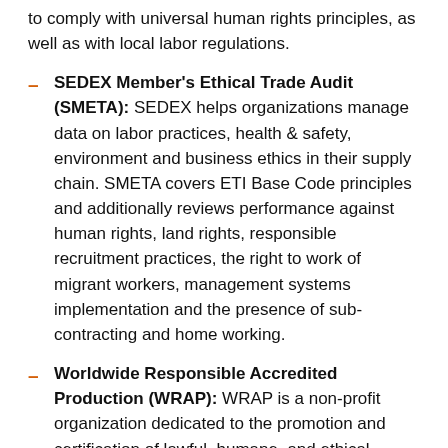to comply with universal human rights principles, as well as with local labor regulations.
SEDEX Member's Ethical Trade Audit (SMETA): SEDEX helps organizations manage data on labor practices, health & safety, environment and business ethics in their supply chain. SMETA covers ETI Base Code principles and additionally reviews performance against human rights, land rights, responsible recruitment practices, the right to work of migrant workers, management systems implementation and the presence of sub-contracting and home working.
Worldwide Responsible Accredited Production (WRAP): WRAP is a non-profit organization dedicated to the promotion and certification of lawful, humane, and ethical manufacturing throughout the world.